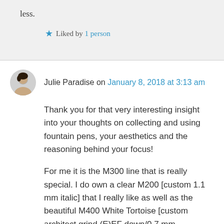less.
★ Liked by 1 person
Julie Paradise on January 8, 2018 at 3:13 am
Thank you for that very interesting insight into your thoughts on collecting and using fountain pens, your aesthetics and the reasoning behind your focus!
For me it is the M300 line that is really special. I do own a clear M200 [custom 1.1 mm italic] that I really like as well as the beautiful M400 White Tortoise [custom architect grind (E)EF down/0.7 mm sideways], but I really love my M300 Black